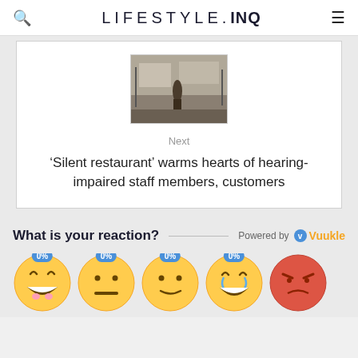LIFESTYLE.INQ
[Figure (photo): Small thumbnail photo of a restaurant interior with person standing]
Next
'Silent restaurant' warms hearts of hearing-impaired staff members, customers
What is your reaction?  Powered by Vuukle
[Figure (infographic): Four emoji reaction buttons each showing 0%: happy laughing face, neutral face, smirking face, crying laughing face, and a partially visible angry/red face]